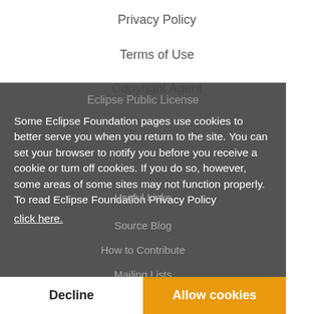Privacy Policy
Terms of Use
Copyright Agent
Eclipse Public License
Some Eclipse Foundation pages use cookies to better serve you when you return to the site. You can set your browser to notify you before you receive a cookie or turn off cookies. If you do so, however, some areas of some sites may not function properly. To read Eclipse Foundation Privacy Policy click here.
Useful Links
Source Blog
How to Contribute
Mailing Lists
Forums
Marketplace